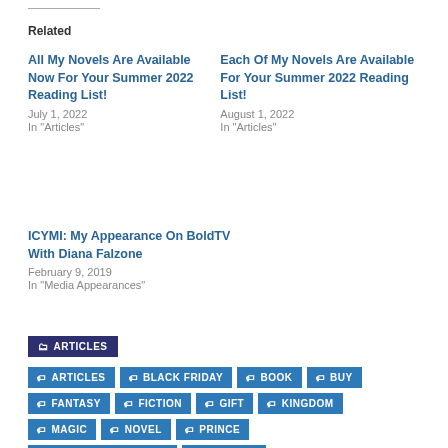Related
All My Novels Are Available Now For Your Summer 2022 Reading List!
July 1, 2022
In "Articles"
Each Of My Novels Are Available For Your Summer 2022 Reading List!
August 1, 2022
In "Articles"
ICYMI: My Appearance On BoldTV With Diana Falzone
February 9, 2019
In "Media Appearances"
ARTICLES
ARTICLES BLACK FRIDAY BOOK BUY FANTASY FICTION GIFT KINGDOM MAGIC NOVEL PRINCE RAPUNZEL PRINCESS SHIPPING